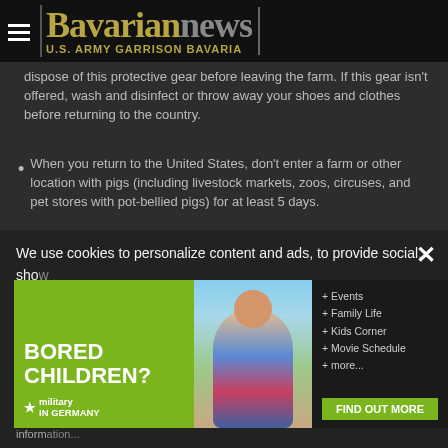Bavarian news — U.S. ARMY GARRISON BAVARIA
... dispose of this protective gear before leaving the farm. If this gear isn't offered, wash and disinfect or throw away your shoes and clothes before returning to the country.
When you return to the United States, don't enter a farm or other location with pigs (including livestock markets, zoos, circuses, and pet stores with pot-bellied pigs) for at least 5 days.
For more information, please visit: www.aphis.usada.gov
[Figure (infographic): Looking for Something banner advertisement with green left panel and navigation links for Events, Travel Tips, Movie Schedule on dark right panel]
[Figure (infographic): Cookie consent overlay with X close button. Text: We use cookies to personalize content and ads, to provide social... information about your use of our site with our social media, advertising and analytics partners who may combine it with other information...]
[Figure (infographic): Bored Children? advertisement banner with green left panel, photo of child, and right panel listing Events, Family Life, Kids Corner, Movie Schedule, more... and FIND OUT MORE button. Military in Germany logo.]